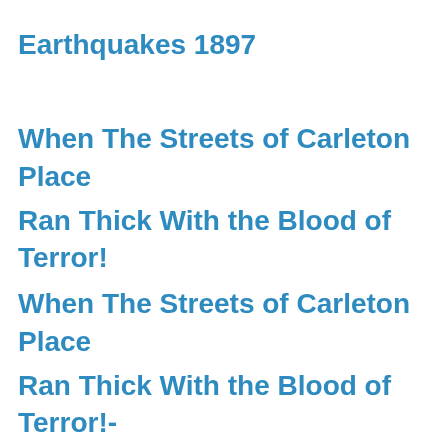Earthquakes 1897
When The Streets of Carleton Place Ran Thick With the Blood of Terror!
When The Streets of Carleton Place Ran Thick With the Blood of Terror!- Volume 1- Part 2